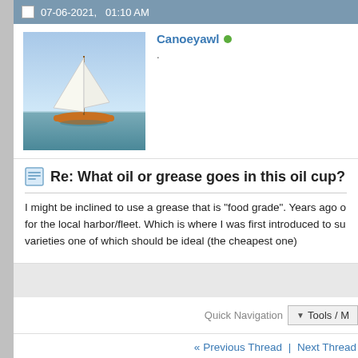07-06-2021,   01:10 AM
[Figure (photo): User avatar showing a sailboat on calm water]
Canoeyawl (online)
Re: What oil or grease goes in this oil cup?
I might be inclined to use a grease that is "food grade". Years ago o for the local harbor/fleet. Which is where I was first introduced to su varieties one of which should be ideal (the cheapest one)
Quick Navigation  ▼ Tools / M
« Previous Thread | Next Thread»
Posting Permissions
|  |  |
| --- | --- |
| You may not post new threads | BB code is On |
|  | Smilies are On |
| You may not post replies | [IMG] code is On |